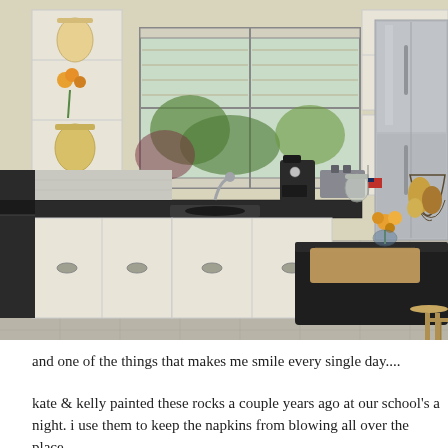[Figure (photo): Interior kitchen photo showing white cabinets, stainless steel refrigerator, black countertops, a kitchen island with bar stools, a window over the sink, a coffee maker, decorative items including orange flowers and a wire basket with fruit, and open shelving with decorative pottery.]
and one of the things that makes me smile every single day....
kate & kelly painted these rocks a couple years ago at our school's a night.  i use them to keep the napkins from blowing all over the place